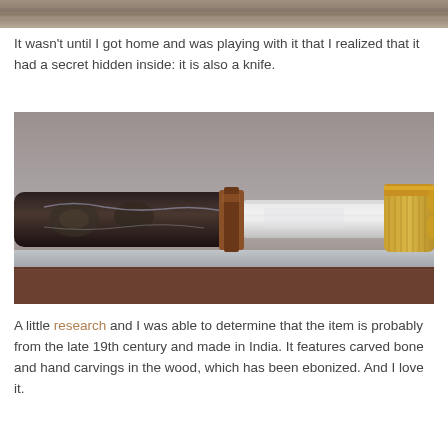[Figure (photo): Top portion of a decorative carved object, partially visible at the top of the page]
It wasn't until I got home and was playing with it that I realized that it had a secret hidden inside: it is also a knife.
[Figure (photo): Close-up photograph of an antique Indian knife/dagger partially pulled from an ornate carved black wooden sheath. The handle is gold-colored with intricate patterns and the blade is silver/metallic, partially exposed.]
A little research and I was able to determine that the item is probably from the late 19th century and made in India. It features carved bone and hand carvings in the wood, which has been ebonized. And I love it.